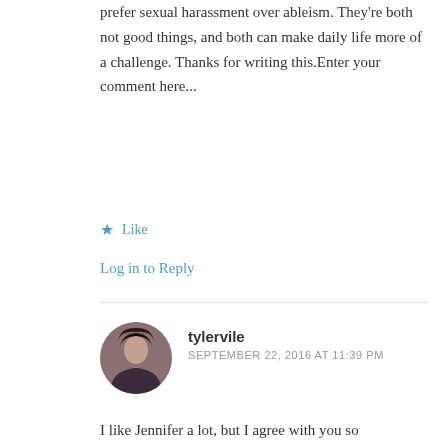prefer sexual harassment over ableism. They're both not good things, and both can make daily life more of a challenge. Thanks for writing this.Enter your comment here...
★ Like
Log in to Reply
tylervile
SEPTEMBER 22, 2016 AT 11:39 PM
I like Jennifer a lot, but I agree with you so wholeheartedly as a feminine trans woman with CP!!